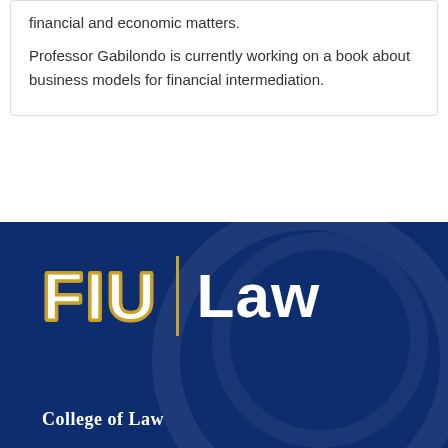financial and economic matters.
Professor Gabilondo is currently working on a book about business models for financial intermediation.
[Figure (logo): FIU Law College of Law logo on dark navy blue background. 'FIU' in large gold-outlined white block letters, a vertical gold divider line, 'Law' in large white bold text, and 'College of Law' in white serif bold text at bottom left.]